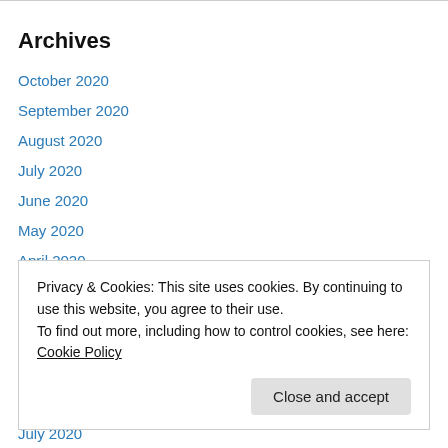Archives
October 2020
September 2020
August 2020
July 2020
June 2020
May 2020
April 2020
March 2020
February 2020
January 2020
Privacy & Cookies: This site uses cookies. By continuing to use this website, you agree to their use.
To find out more, including how to control cookies, see here: Cookie Policy
Close and accept